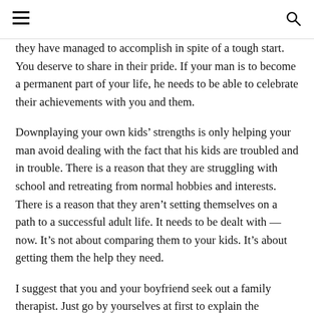they have managed to accomplish in spite of a tough start. You deserve to share in their pride. If your man is to become a permanent part of your life, he needs to be able to celebrate their achievements with you and them.
Downplaying your own kids’ strengths is only helping your man avoid dealing with the fact that his kids are troubled and in trouble. There is a reason that they are struggling with school and retreating from normal hobbies and interests. There is a reason that they aren’t setting themselves on a path to a successful adult life. It needs to be dealt with — now. It’s not about comparing them to your kids. It’s about getting them the help they need.
I suggest that you and your boyfriend seek out a family therapist. Just go by yourselves at first to explain the situation and work out strategies to get through to them about it. You